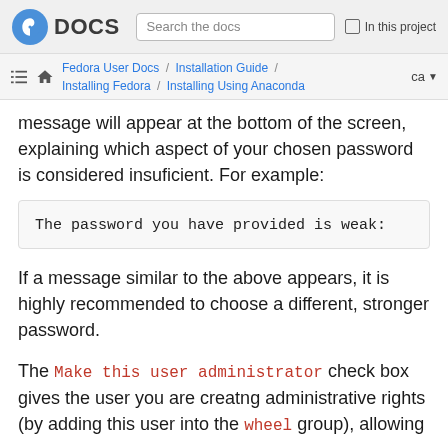DOCS | Search the docs | In this project
Fedora User Docs / Installation Guide / Installing Fedora / Installing Using Anaconda | ca
message will appear at the bottom of the screen, explaining which aspect of your chosen password is considered insuficient. For example:
The password you have provided is weak:
If a message similar to the above appears, it is highly recommended to choose a different, stronger password.
The Make this user administrator check box gives the user you are creatng administrative rights (by adding this user into the wheel group), allowing